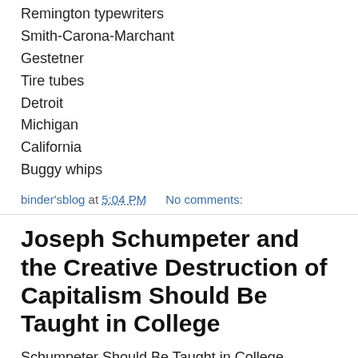Remington typewriters
Smith-Carona-Marchant
Gestetner
Tire tubes
Detroit
Michigan
California
Buggy whips
binder'sblog at 5:04 PM   No comments:
Joseph Schumpeter and the Creative Destruction of Capitalism Should Be Taught in College
Schumpeter Should Be Taught in College
Joseph Schumpeter (1883-1950) is one of the greatest economists of the 20th century.